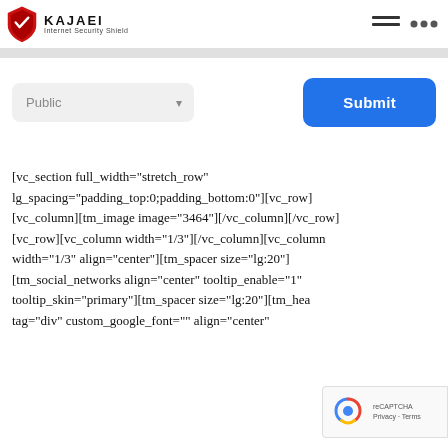[Figure (logo): Kajaei Internet Security Shield logo with shield icon and text]
[Figure (screenshot): Navigation menu icons (hamburger menu and dots menu)]
[Figure (screenshot): Gray horizontal bar below header]
Public
Submit
[vc_section full_width="stretch_row" lg_spacing="padding_top:0;padding_bottom:0"][vc_row][vc_column][tm_image image="3464"][/vc_column][/vc_row][vc_row][vc_column width="1/3"][/vc_column][vc_column width="1/3" align="center"][tm_spacer size="lg:20"][tm_social_networks align="center" tooltip_enable="1" tooltip_skin="primary"][tm_spacer size="lg:20"][tm_hea tag="div" custom_google_font="" align="center"